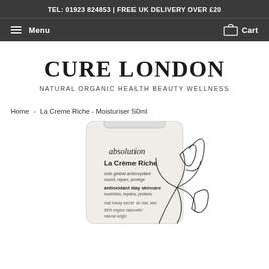TEL: 01923 824853 | FREE UK DELIVERY OVER £20
Menu  Cart
CURE LONDON
NATURAL ORGANIC HEALTH BEAUTY WELLNESS
Home › La Creme Riche - Moisturiser 50ml
[Figure (photo): Absolution La Crème Riche moisturiser tube, white with black botanical line drawings, showing text: absolution, La Crème Riche, soin global antioxydant, nourrit, répare, protège, antioxidant day skincare, nourishes, repairs, protects, mat honey secret de mat, kiwi, 99% origine naturelle/natural origin]